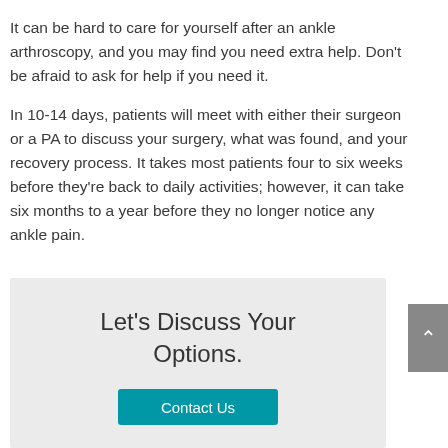It can be hard to care for yourself after an ankle arthroscopy, and you may find you need extra help. Don't be afraid to ask for help if you need it.
In 10-14 days, patients will meet with either their surgeon or a PA to discuss your surgery, what was found, and your recovery process. It takes most patients four to six weeks before they're back to daily activities; however, it can take six months to a year before they no longer notice any ankle pain.
Let's Discuss Your Options.
Contact Us